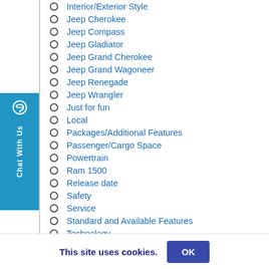Interior/Exterior Style
Jeep Cherokee
Jeep Compass
Jeep Gladiator
Jeep Grand Cherokee
Jeep Grand Wagoneer
Jeep Renegade
Jeep Wrangler
Just for fun
Local
Packages/Additional Features
Passenger/Cargo Space
Powertrain
Ram 1500
Release date
Safety
Service
Standard and Available Features
Technology
Tips and Tricks
This site uses cookies.
OK